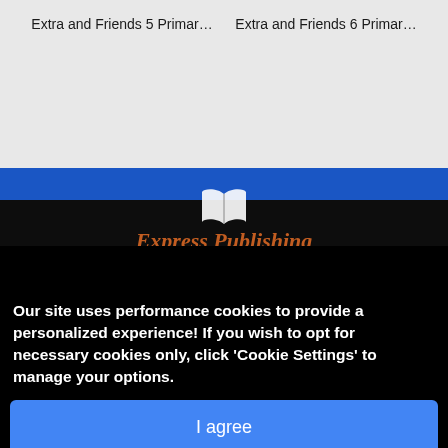Extra and Friends 5 Primar…
Extra and Friends 6 Primar…
[Figure (screenshot): Express Publishing website screenshot showing blue header bar and book-shaped logo above dark background with company name and address text (Greenham Business Park, Newbury). A cookie consent banner overlays the bottom portion with bold white text, a blue 'I agree' button, a red 'Decline' button, and a 'Cookie Settings' link with a blue chat bubble icon.]
Our site uses performance cookies to provide a personalized experience! If you wish to opt for necessary cookies only, click 'Cookie Settings' to manage your options.
I agree
Decline
Cookie Settings